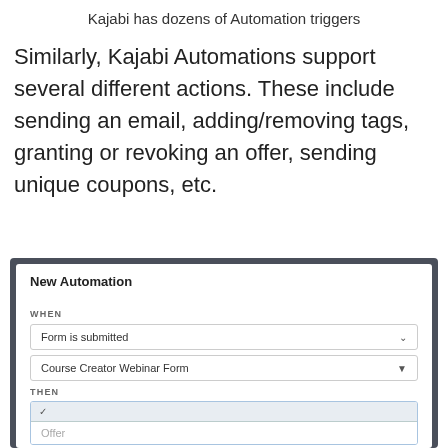Kajabi has dozens of Automation triggers
Similarly, Kajabi Automations support several different actions. These include sending an email, adding/removing tags, granting or revoking an offer, sending unique coupons, etc.
[Figure (screenshot): Screenshot of Kajabi New Automation interface showing WHEN trigger set to 'Form is submitted' with 'Course Creator Webinar Form' selected, and THEN section showing a dropdown with 'Offer' option]